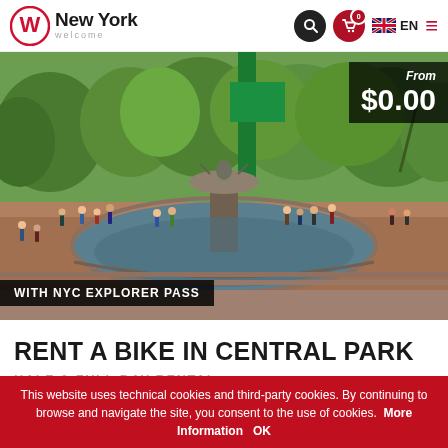New York Welcome — EN
[Figure (photo): Bethesda Fountain in Central Park, New York, with visitors around the fountain and lush green trees in the background. A green flag/banner is visible. Price overlay shows 'From $0.00'. Banner text: 'WITH NYC EXPLORER PASS']
RENT A BIKE IN CENTRAL PARK
HALF & FULL DAY RENTAL
This website uses technical cookies and third-party cookies. By continuing to browse and navigate the site, you consent to the use of cookies. More Information OK